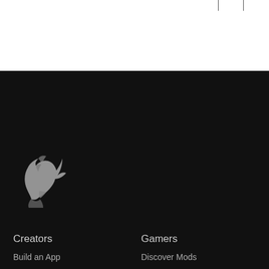[Figure (logo): Overwolf wolf head logo in grey on black background]
Creators
Gamers
Build an App
Discover Mods
Publish a mod
Discover Apps
Why Overwolf
Gameplay First
App documentation
Download Overwolf
Mod documentation
Suggest a feature